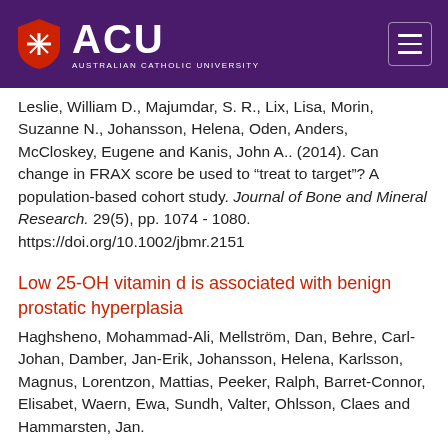[Figure (logo): ACU (Australian Catholic University) logo with shield icon on purple header background, with hamburger menu icon on the right]
Leslie, William D., Majumdar, S. R., Lix, Lisa, Morin, Suzanne N., Johansson, Helena, Oden, Anders, McCloskey, Eugene and Kanis, John A.. (2014). Can change in FRAX score be used to "treat to target"? A population-based cohort study. Journal of Bone and Mineral Research. 29(5), pp. 1074 - 1080. https://doi.org/10.1002/jbmr.2151
Low 25-OH vitamin d is associated with benign prostatic hyperplasia
Haghsheno, Mohammad-Ali, Mellström, Dan, Behre, Carl-Johan, Damber, Jan-Erik, Johansson, Helena, Karlsson, Magnus, Lorentzon, Mattias, Peeker, Ralph, Barret-Connor, Elisabet, Waern, Ewa, Sundh, Valter, Ohlsson, Claes and Hammarsten, Jan.